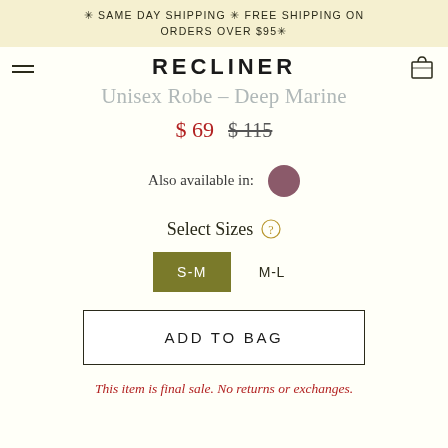✳ SAME DAY SHIPPING ✳ FREE SHIPPING ON ORDERS OVER $95✳
RECLINER
Unisex Robe – Deep Marine
$69  $115
Also available in:
Select Sizes
S-M  M-L
ADD TO BAG
This item is final sale. No returns or exchanges.